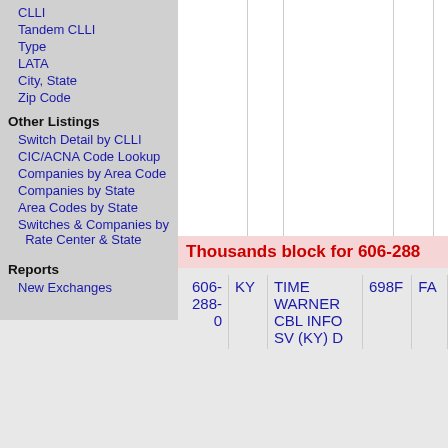CLLI
Tandem CLLI
Type
LATA
City, State
Zip Code
Other Listings
Switch Detail by CLLI
CIC/ACNA Code Lookup
Companies by Area Code
Companies by State
Area Codes by State
Switches & Companies by Rate Center & State
Reports
New Exchanges
Thousands block for 606-288
| Number | State | Company | LATA |  |
| --- | --- | --- | --- | --- |
| 606-288-0 | KY | TIME WARNER CBL INFO SV (KY) D | 698F | FA |